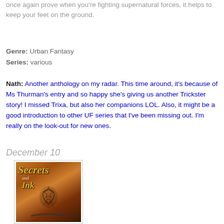once again prove when you're fighting supernatural forces, it helps to keep your feet on the ground.
Genre: Urban Fantasy
Series: various
Nath: Another anthology on my radar. This time around, it's because of Ms Thurman's entry and so happy she's giving us another Trickster story! I missed Trixa, but also her companions LOL. Also, it might be a good introduction to other UF series that I've been missing out. I'm really on the look-out for new ones.
December 10
[Figure (photo): Book cover for 'Secrets and Ink' showing a torso with a tattoo design on an orange-brown background]